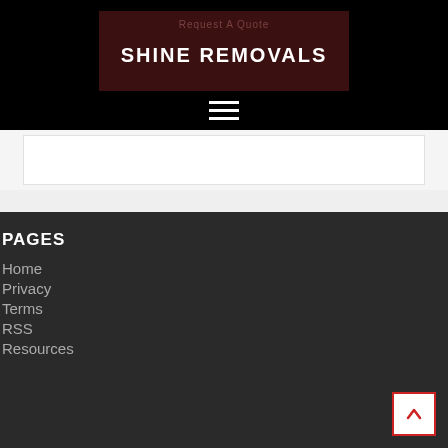SHINE REMOVALS
PAGES
Home
Privacy
Terms
RSS
Resources